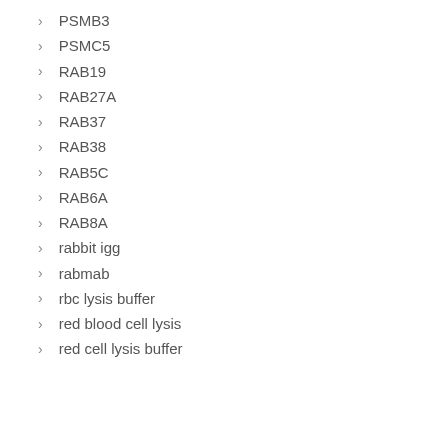PSMB3
PSMC5
RAB19
RAB27A
RAB37
RAB38
RAB5C
RAB6A
RAB8A
rabbit igg
rabmab
rbc lysis buffer
red blood cell lysis
red cell lysis buffer